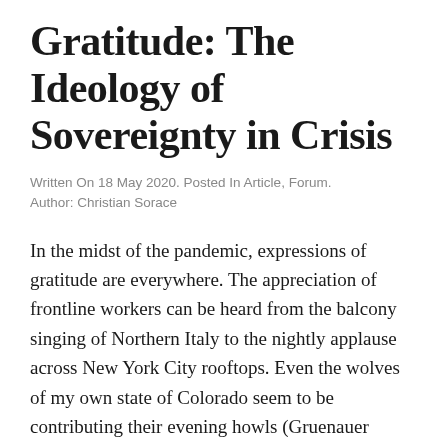Gratitude: The Ideology of Sovereignty in Crisis
Written On 18 May 2020. Posted In Article, Forum. Author: Christian Sorace
In the midst of the pandemic, expressions of gratitude are everywhere. The appreciation of frontline workers can be heard from the balcony singing of Northern Italy to the nightly applause across New York City rooftops. Even the wolves of my own state of Colorado seem to be contributing their evening howls (Gruenauer 2020). Meanwhile, mental health experts